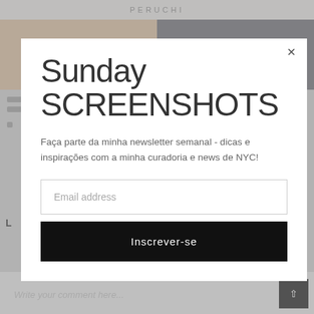[Figure (screenshot): Background of a blog website showing a top navigation bar with text PERUCHI, two photos side by side (food and accessories), some text lines on the left, and a comment input area at the bottom with a scroll-to-top button.]
Sunday
SCREENSHOTS
Faça parte da minha newsletter semanal - dicas e inspirações com a minha curadoria e news de NYC!
Email address
Inscrever-se
Write your comment here...